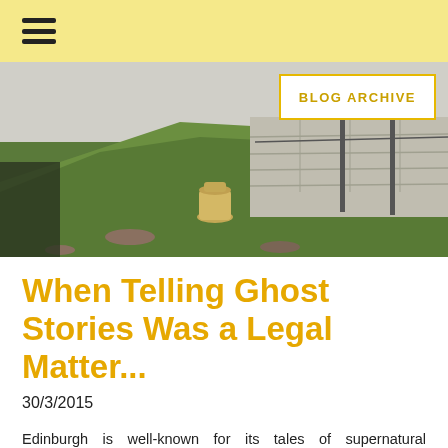☰
[Figure (photo): Outdoor scene showing a grass hillside with a stone wall in the background and a metal milk churn/container in the foreground on dirt ground.]
BLOG ARCHIVE
When Telling Ghost Stories Was a Legal Matter...
30/3/2015
Edinburgh is well-known for its tales of supernatural occurrences and not-of-this-world presences - whether